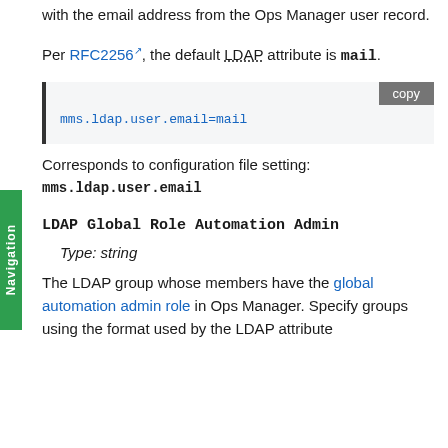with the email address from the Ops Manager user record.
Per RFC2256, the default LDAP attribute is mail.
mms.ldap.user.email=mail
Corresponds to configuration file setting: mms.ldap.user.email
LDAP Global Role Automation Admin
Type: string
The LDAP group whose members have the global automation admin role in Ops Manager. Specify groups using the format used by the LDAP attribute specified in the LDAP Attribute Configuration. You